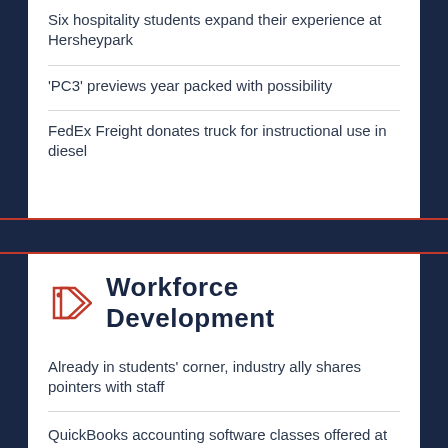Six hospitality students expand their experience at Hersheypark
'PC3' previews year packed with possibility
FedEx Freight donates truck for instructional use in diesel
Workforce Development
Already in students' corner, industry ally shares pointers with staff
QuickBooks accounting software classes offered at Penn College
Penn College receives $314,440 PAsmart grant
More practical nursing information sessions set in